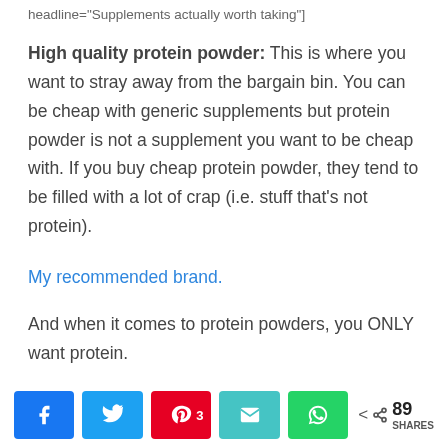headline="Supplements actually worth taking"]
High quality protein powder: This is where you want to stray away from the bargain bin. You can be cheap with generic supplements but protein powder is not a supplement you want to be cheap with. If you buy cheap protein powder, they tend to be filled with a lot of crap (i.e. stuff that’s not protein).
My recommended brand.
And when it comes to protein powders, you ONLY want protein.
(partially visible cut-off text)
[Figure (infographic): Social share bar with Facebook, Twitter, Pinterest (3), email/envelope, WhatsApp buttons and a share count of 89 SHARES]